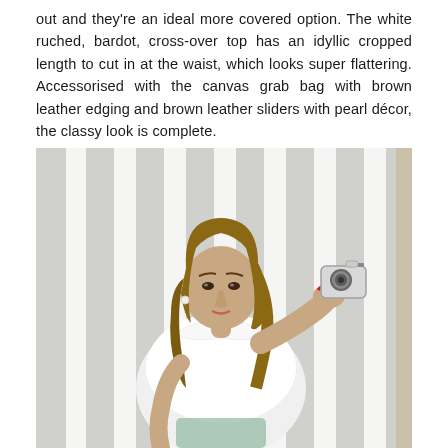out and they're an ideal more covered option. The white ruched, bardot, cross-over top has an idyllic cropped length to cut in at the waist, which looks super flattering. Accessorised with the canvas grab bag with brown leather edging and brown leather sliders with pearl décor, the classy look is complete.
[Figure (photo): A young woman with long brown hair taking a mirror selfie with a camera, wearing a white ruched bardot cross-over top. She is posing in front of a white and grey striped background.]